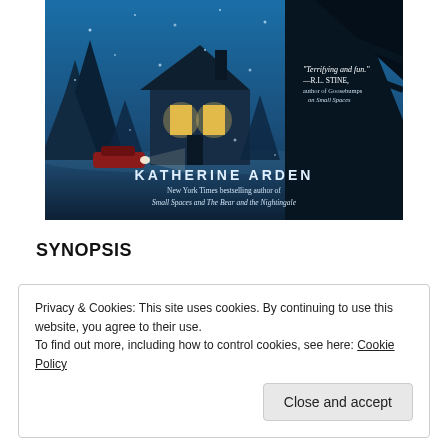[Figure (illustration): Book cover illustration for a Katherine Arden novel. Dark blue wintery scene with a snow-covered house glowing with warm light, dark pine trees, a red car in the foreground, and falling snow. Text on cover reads: 'Terrifying and fun.' —R.L. STINE, author of Goosebumps on Small Spaces. KATHERINE ARDEN. New York Times bestselling author of Small Spaces and The Bear and the Nightingale.]
SYNOPSIS
Privacy & Cookies: This site uses cookies. By continuing to use this website, you agree to their use.
To find out more, including how to control cookies, see here: Cookie Policy
Close and accept